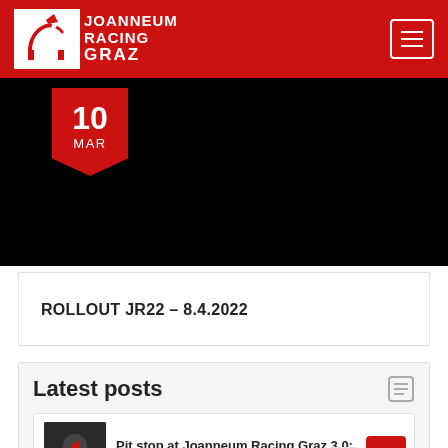[Figure (logo): Joanneum Racing Graz logo with dog head icon and hamburger menu button on red header]
[Figure (photo): Hero image with black background and red date badge showing 10 MAR]
ROLLOUT JR22 – 8.4.2022
Latest posts
Pit stop at Joanneum Racing Graz 3.0: